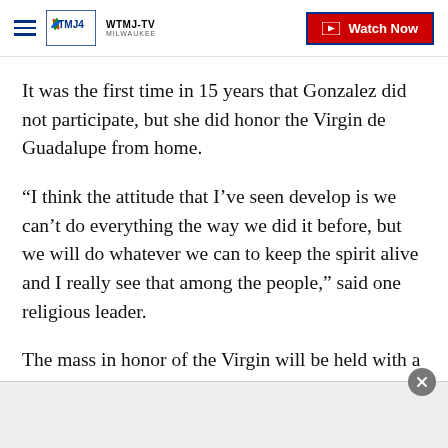WTMJ-TV MILWAUKEE | Watch Now
It was the first time in 15 years that Gonzalez did not participate, but she did honor the Virgin de Guadalupe from home.
“I think the attitude that I’ve seen develop is we can’t do everything the way we did it before, but we will do whatever we can to keep the spirit alive and I really see that among the people,” said one religious leader.
The mass in honor of the Virgin will be held with a limited number of parishioners while respecting social